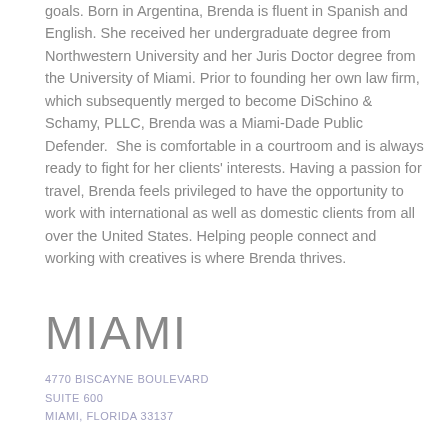goals. Born in Argentina, Brenda is fluent in Spanish and English. She received her undergraduate degree from Northwestern University and her Juris Doctor degree from the University of Miami. Prior to founding her own law firm, which subsequently merged to become DiSchino & Schamy, PLLC, Brenda was a Miami-Dade Public Defender.  She is comfortable in a courtroom and is always ready to fight for her clients' interests. Having a passion for travel, Brenda feels privileged to have the opportunity to work with international as well as domestic clients from all over the United States. Helping people connect and working with creatives is where Brenda thrives.
MIAMI
4770 BISCAYNE BOULEVARD
SUITE 600
MIAMI, FLORIDA 33137